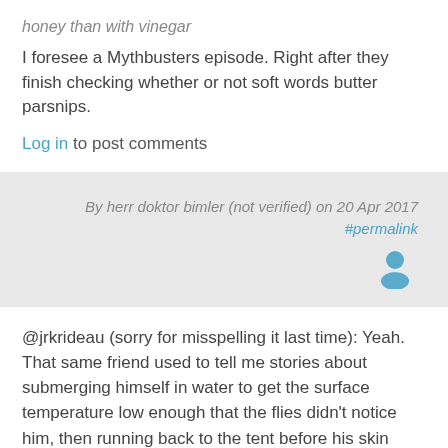honey than with vinegar
I foresee a Mythbusters episode. Right after they finish checking whether or not soft words butter parsnips.
Log in to post comments
By herr doktor bimler (not verified) on 20 Apr 2017 #permalink
[Figure (illustration): Blue user avatar icon]
@jrkrideau (sorry for misspelling it last time): Yeah. That same friend used to tell me stories about submerging himself in water to get the surface temperature low enough that the flies didn't notice him, then running back to the tent before his skin warmed up again to apply DEET. He tended to twitch whenever he heard that folk song about 'Black flies'.
(( Black flies, the little black flies // Always the